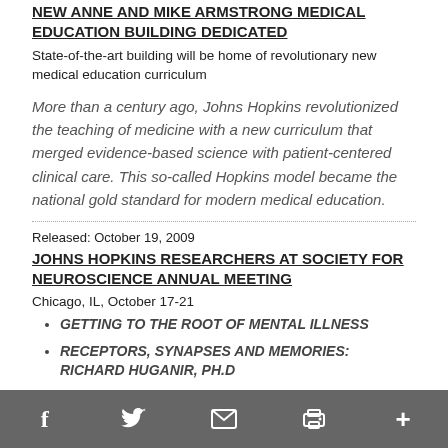NEW ANNE AND MIKE ARMSTRONG MEDICAL EDUCATION BUILDING DEDICATED
State-of-the-art building will be home of revolutionary new medical education curriculum
More than a century ago, Johns Hopkins revolutionized the teaching of medicine with a new curriculum that merged evidence-based science with patient-centered clinical care. This so-called Hopkins model became the national gold standard for modern medical education.
Released: October 19, 2009
JOHNS HOPKINS RESEARCHERS AT SOCIETY FOR NEUROSCIENCE ANNUAL MEETING
Chicago, IL, October 17-21
GETTING TO THE ROOT OF MENTAL ILLNESS
RECEPTORS, SYNAPSES AND MEMORIES: RICHARD HUGANIR, PH.D
SPEEDING DISCOVERY: THE NOSE KNOWS
NERVE TRANSPLANTS AS POSSIBLE TREATMENT
f  Twitter  Email  Print  +